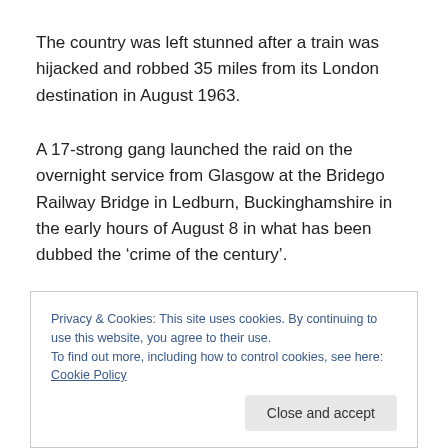The country was left stunned after a train was hijacked and robbed 35 miles from its London destination in August 1963.
A 17-strong gang launched the raid on the overnight service from Glasgow at the Bridego Railway Bridge in Ledburn, Buckinghamshire in the early hours of August 8 in what has been dubbed the ‘crime of the century’.
Led by the charismatic Bruce Reynolds, the group of criminals pulled off the notorious heist, making off with
Privacy & Cookies: This site uses cookies. By continuing to use this website, you agree to their use.
To find out more, including how to control cookies, see here: Cookie Policy